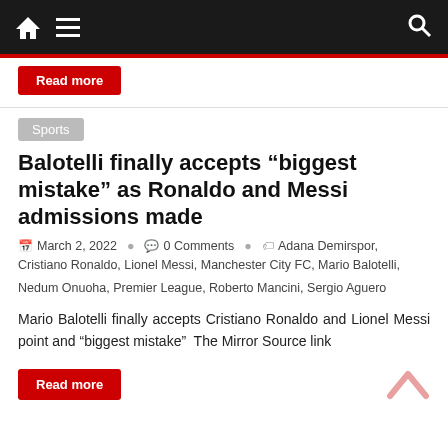Navigation bar with home, menu, and search icons
Read more
Sports
Balotelli finally accepts “biggest mistake” as Ronaldo and Messi admissions made
March 2, 2022   0 Comments   Adana Demirspor, Cristiano Ronaldo, Lionel Messi, Manchester City FC, Mario Balotelli, Nedum Onuoha, Premier League, Roberto Mancini, Sergio Aguero
Mario Balotelli finally accepts Cristiano Ronaldo and Lionel Messi point and “biggest mistake”  The Mirror Source link
Read more